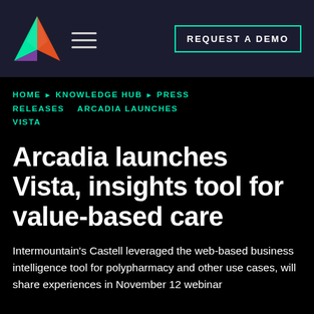REQUEST A DEMO
HOME ▶ KNOWLEDGE HUB ▶ PRESS RELEASES   ARCADIA LAUNCHES VISTA
Arcadia launches Vista, insights tool for value-based care
Intermountain's Castell leveraged the web-based business intelligence tool for polypharmacy and other use cases, will share experiences in November 12 webinar